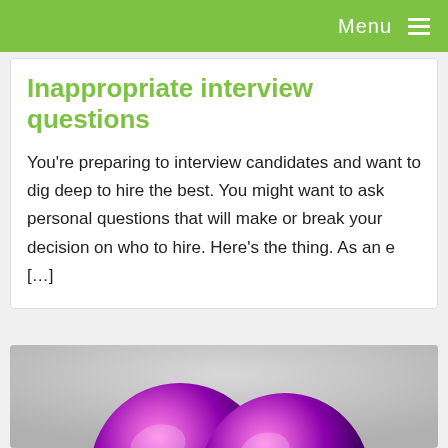Menu
Inappropriate interview questions
You're preparing to interview candidates and want to dig deep to hire the best. You might want to ask personal questions that will make or break your decision on who to hire. Here's the thing. As an e […]
[Figure (photo): Two shiny metallic pink/purple spherical decorative objects on a grey background]